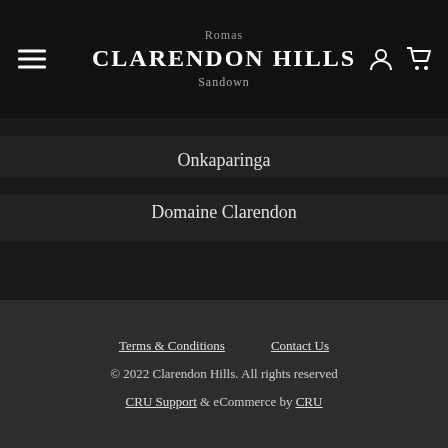Romas Clarendon Hills Sandown
Onkaparinga
Domaine Clarendon
[Figure (logo): Instagram logo icon — rounded square with camera outline and dot]
Terms & Conditions   Contact Us   © 2022 Clarendon Hills. All rights reserved   CRU Support & eCommerce by CRU